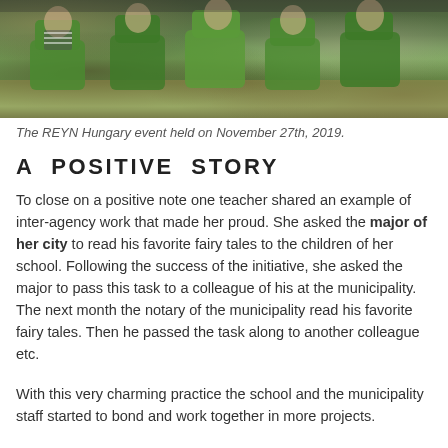[Figure (photo): Photograph of children sitting on green chairs in a classroom setting, taken at the REYN Hungary event on November 27th, 2019.]
The REYN Hungary event held on November 27th, 2019.
A POSITIVE STORY
To close on a positive note one teacher shared an example of inter-agency work that made her proud. She asked the major of her city to read his favorite fairy tales to the children of her school. Following the success of the initiative, she asked the major to pass this task to a colleague of his at the municipality. The next month the notary of the municipality read his favorite fairy tales. Then he passed the task along to another colleague etc.
With this very charming practice the school and the municipality staff started to bond and work together in more projects.